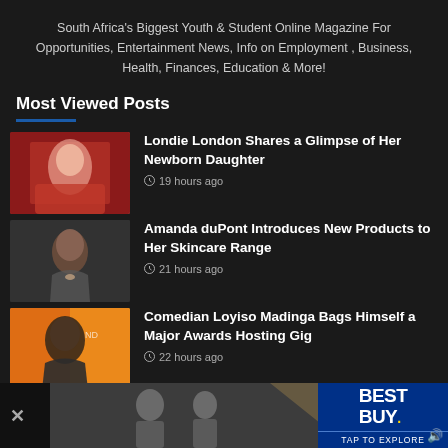South Africa's Biggest Youth & Student Online Magazine For Opportunities, Entertainment News, Info on Employment , Business, Health, Finances, Education & More!
Most Viewed Posts
[Figure (photo): Woman in red dress, thumbnail for article about Londie London]
Londie London Shares a Glimpse of Her Newborn Daughter
19 hours ago
[Figure (photo): Woman smiling, thumbnail for article about Amanda duPont]
Amanda duPont Introduces New Products to Her Skincare Range
21 hours ago
[Figure (photo): Man smiling in front of sign, thumbnail for Comedian Loyiso Madinga article]
Comedian Loyiso Madinga Bags Himself a Major Awards Hosting Gig
22 hours ago
[Figure (photo): Best Buy advertisement banner at bottom of page]